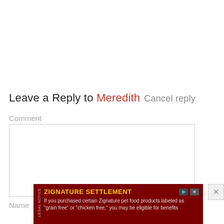Leave a Reply to Meredith Cancel reply
Comment
Name
[Figure (screenshot): Empty comment text area input field with a resize handle in the bottom-right corner]
[Figure (infographic): Advertisement banner: ZIGNATURE SETTLEMENT - If you purchased certain Zignature pet food products labeled as 'grain free' or 'chicken free,' you may be eligible for benefits. Dark red background with yellow title text.]